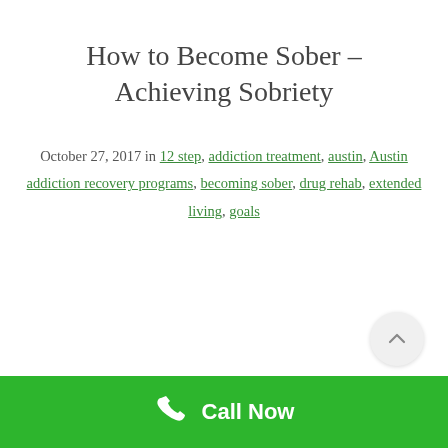How to Become Sober – Achieving Sobriety
October 27, 2017 in 12 step, addiction treatment, austin, Austin addiction recovery programs, becoming sober, drug rehab, extended living, goals
Call Now